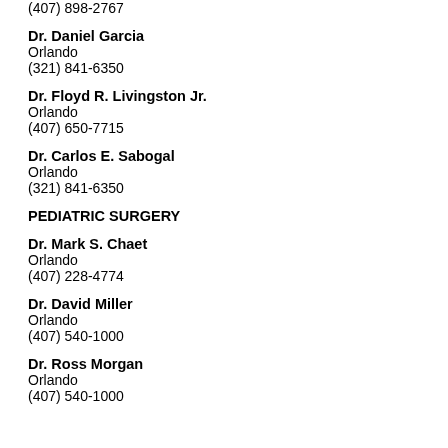Winter Park
(407) 898-2767
Dr. Daniel Garcia
Orlando
(321) 841-6350
Dr. Floyd R. Livingston Jr.
Orlando
(407) 650-7715
Dr. Carlos E. Sabogal
Orlando
(321) 841-6350
PEDIATRIC SURGERY
Dr. Mark S. Chaet
Orlando
(407) 228-4774
Dr. David Miller
Orlando
(407) 540-1000
Dr. Ross Morgan
Orlando
(407) 540-1000